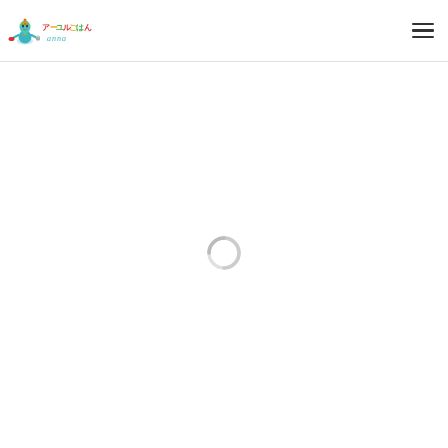[Figure (logo): Website header logo featuring an Indian deity figure with colorful bowls and Japanese text reading アーユルごはん anna]
[Figure (other): Hamburger menu icon (three horizontal lines) in the top right corner of the header]
[Figure (other): Loading spinner icon (partial circle / crescent shape) centered in the main content area]